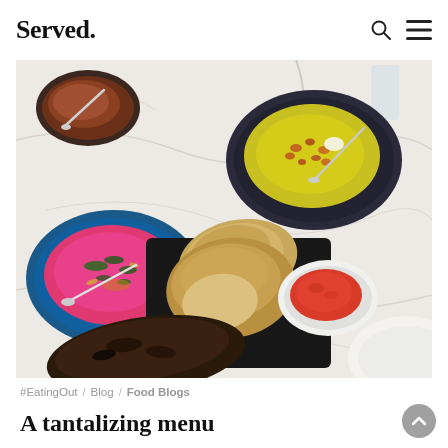Served. [logo] with search and menu icons
[Figure (photo): Overhead food photography on a marble table showing multiple dishes: a blue plate with pink beet hummus topped with herbs, a dark navy bowl with yellow hummus topped with roasted chickpeas, a small bowl of red broth at top-left, slices of rustic sourdough bread on a dark slate cutting board, a small white bowl of tomato dipping sauce, and a charred flatbread in the foreground.]
#EatingOut / Blog / Food Blogs
A tantalizing menu